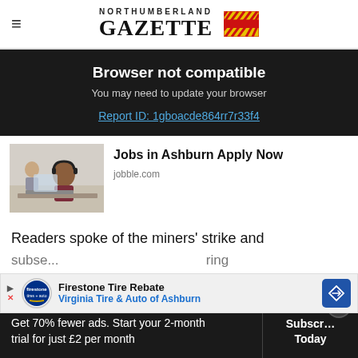NORTHUMBERLAND GAZETTE
Browser not compatible
You may need to update your browser
Report ID: 1gboacde864rr7r33f4
[Figure (photo): Photo of a man wearing headphones sitting at a desk working on a computer, with another person in background]
Jobs in Ashburn Apply Now
jobble.com
Readers spoke of the miners' strike and subse... ring her tenure and decimated parts of the North
[Figure (infographic): Firestone Tire Rebate advertisement: Virginia Tire & Auto of Ashburn]
Get 70% fewer ads. Start your 2-month trial for just £2 per month
Subscribe Today